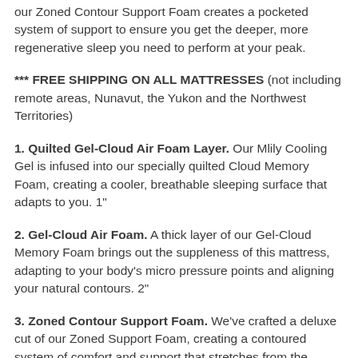our Zoned Contour Support Foam creates a pocketed system of support to ensure you get the deeper, more regenerative sleep you need to perform at your peak.
*** FREE SHIPPING ON ALL MATTRESSES (not including remote areas, Nunavut, the Yukon and the Northwest Territories)
1. Quilted Gel-Cloud Air Foam Layer. Our Mlily Cooling Gel is infused into our specially quilted Cloud Memory Foam, creating a cooler, breathable sleeping surface that adapts to you. 1"
2. Gel-Cloud Air Foam. A thick layer of our Gel-Cloud Memory Foam brings out the suppleness of this mattress, adapting to your body's micro pressure points and aligning your natural contours. 2"
3. Zoned Contour Support Foam. We've crafted a deluxe cut of our Zoned Support Foam, creating a contoured system of comfort and support that stretches from the center to the very edges of your mattress. The result: a better sleep and a